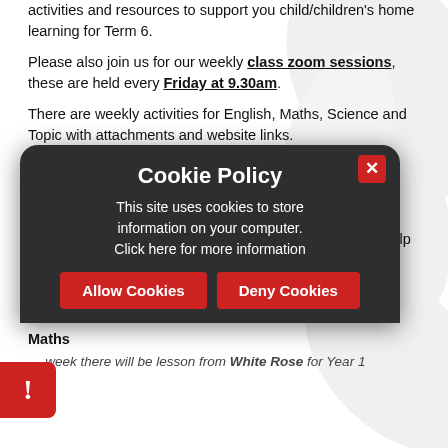activities and resources to support you child/children's home learning for Term 6.
Please also join us for our weekly class zoom sessions, these are held every Friday at 9.30am.
There are weekly activities for English, Maths, Science and Topic with attachments and website links.
Please click on the relevant weekly tab for a suggested detailed weekly timetable.
Also First News and other publishers are creating free access to support children during this period of time, to help children to continue reading. Please see the link below:
https://www.firstnews.co.uk/magazines/first-news-single-issue/
Maths
week there will be lesson from White Rose for Year 1
[Figure (other): Cookie Policy popup overlay on a dark rounded background. Title: Cookie Policy. Body: This site uses cookies to store information on your computer. Click here for more information. Two buttons: Allow Cookies, Deny Cookies. A red X close button in top right.]
[Figure (other): Red warning/exclamation icon at bottom left corner of page.]